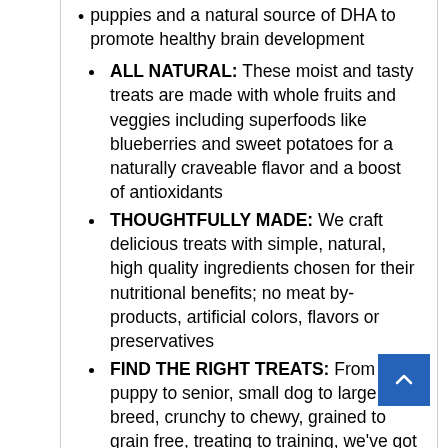puppies and a natural source of DHA to promote healthy brain development
ALL NATURAL: These moist and tasty treats are made with whole fruits and veggies including superfoods like blueberries and sweet potatoes for a naturally craveable flavor and a boost of antioxidants
THOUGHTFULLY MADE: We craft delicious treats with simple, natural, high quality ingredients chosen for their nutritional benefits; no meat by-products, artificial colors, flavors or preservatives
FIND THE RIGHT TREATS: From puppy to senior, small dog to large breed, crunchy to chewy, grained to grain free, treating to training, we've got an all natural recipe for every dog's needs and taste
TRAINING AND REWARDING: These bite sized